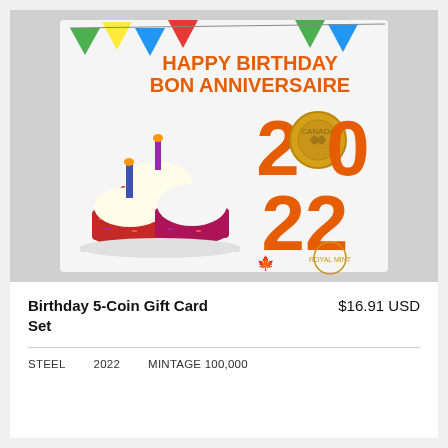[Figure (photo): Birthday 5-Coin Gift Card Set product image showing a card with cupcakes decorated with colorful sprinkles and candles. The card reads 'HAPPY BIRTHDAY BON ANNIVERSAIRE' in orange text with '2022' large and a gold coin embedded in the zero of '20'. Colorful bunting flags in background. Royal Canadian Mint branding visible.]
Birthday 5-Coin Gift Card Set
$16.91 USD
STEEL   2022   MINTAGE 100,000